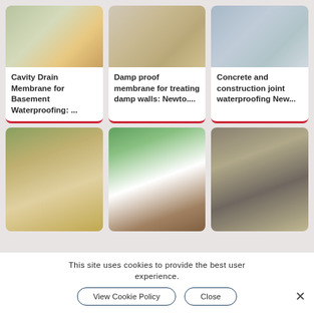[Figure (photo): Worker in yellow vest installing cavity drain membrane on floor]
Cavity Drain Membrane for Basement Waterproofing: ...
[Figure (photo): Gothic stone arch with damp proof membrane dots pattern on wall]
Damp proof membrane for treating damp walls: Newto....
[Figure (photo): Concrete wall with waterproofing membrane and construction joint]
Concrete and construction joint waterproofing New...
[Figure (photo): Construction site with white waterproofing membrane laid on ground]
[Figure (photo): Basement excavation with white waterproofing membrane on walls]
[Figure (photo): Stone wall with drainage channels and waterproofing treatment]
This site uses cookies to provide the best user experience.
View Cookie Policy
Close